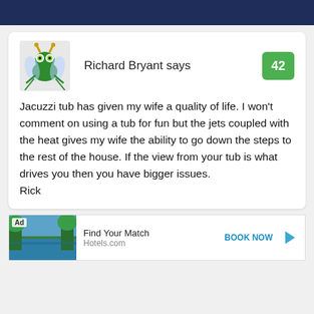Richard Bryant says  42
Jacuzzi tub has given my wife a quality of life. I won't comment on using a tub for fun but the jets coupled with the heat gives my wife the ability to go down the steps to the rest of the house. If the view from your tub is what drives you then you have bigger issues.
Rick
[Figure (screenshot): Advertisement banner: Ad label, tropical lake image, 'Find Your Match', 'Hotels.com', 'BOOK NOW' button]